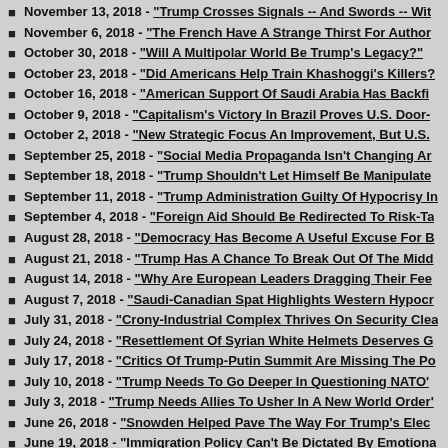November 13, 2018 - "Trump Crosses Signals -- And Swords -- Wi..."
November 6, 2018 - "The French Have A Strange Thirst For Author..."
October 30, 2018 - "Will A Multipolar World Be Trump's Legacy?"
October 23, 2018 - "Did Americans Help Train Khashoggi's Killers?"
October 16, 2018 - "American Support Of Saudi Arabia Has Backfi..."
October 9, 2018 - "Capitalism's Victory In Brazil Proves U.S. Door-..."
October 2, 2018 - "New Strategic Focus An Improvement, But U.S...."
September 25, 2018 - "Social Media Propaganda Isn't Changing Ar..."
September 18, 2018 - "Trump Shouldn't Let Himself Be Manipulate..."
September 11, 2018 - "Trump Administration Guilty Of Hypocrisy In..."
September 4, 2018 - "Foreign Aid Should Be Redirected To Risk-Ta..."
August 28, 2018 - "Democracy Has Become A Useful Excuse For B..."
August 21, 2018 - "Trump Has A Chance To Break Out Of The Midd..."
August 14, 2018 - "Why Are European Leaders Dragging Their Fee..."
August 7, 2018 - "Saudi-Canadian Spat Highlights Western Hypocr..."
July 31, 2018 - "Crony-Industrial Complex Thrives On Security Clea..."
July 24, 2018 - "Resettlement Of Syrian White Helmets Deserves G..."
July 17, 2018 - "Critics Of Trump-Putin Summit Are Missing The Po..."
July 10, 2018 - "Trump Needs To Go Deeper In Questioning NATO'..."
July 3, 2018 - "Trump Needs Allies To Usher In A New World Order'..."
June 26, 2018 - "Snowden Helped Pave The Way For Trump's Elec..."
June 19, 2018 - "Immigration Policy Can't Be Dictated By Emotiona..."
June 12, 2018 - "Trump's Trade War Should Be A Wake-Up Call Fo..."
June 5, 2018 - "Trial Of Former CIA Officer Reveals Chinese Spying..."
May 29, 2018 - "'Trump Whisperer' Macron May Not Want An Exclu..."
May 22, 2018 - "Is France One Of The World's Most Productive Co..."
May 15, 2018 - "Canada Needs To Seal Illegal Crossings At U.S. B..."
May 8, 2018 - "Trump's Withdrawal From Iran Deal Is A Mistake"